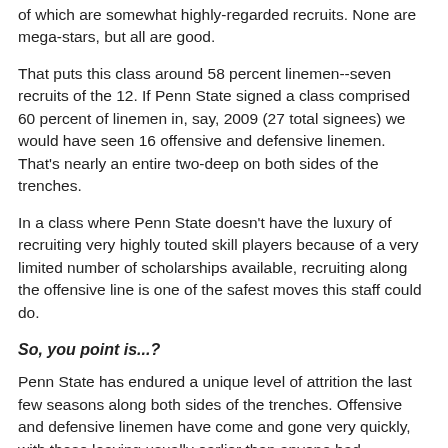of which are somewhat highly-regarded recruits. None are mega-stars, but all are good.
That puts this class around 58 percent linemen--seven recruits of the 12. If Penn State signed a class comprised 60 percent of linemen in, say, 2009 (27 total signees) we would have seen 16 offensive and defensive linemen. That's nearly an entire two-deep on both sides of the trenches.
In a class where Penn State doesn't have the luxury of recruiting very highly touted skill players because of a very limited number of scholarships available, recruiting along the offensive line is one of the safest moves this staff could do.
So, you point is...?
Penn State has endured a unique level of attrition the last few seasons along both sides of the trenches. Offensive and defensive linemen have come and gone very quickly, with those leaving usually earlier than anyone had anticipated.
That has left the team in a real bind, particularly in 2010.